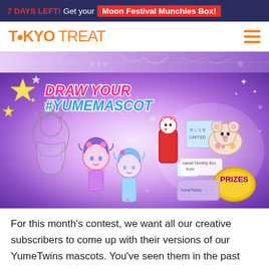7 DAYS LEFT! Get your Moon Festival Munchies Box!
[Figure (logo): TokyoTreat logo with orange text and hamburger menu icon]
[Figure (illustration): Decorative kawaii/anime banner strip with purple tones]
[Figure (illustration): DRAW YOUR #YUMEMASCOT promotional banner with anime mascot characters, kawaii items, and prizes badge on purple gradient background]
For this month's contest, we want all our creative subscribers to come up with their versions of our YumeTwins mascots. You've seen them in the past